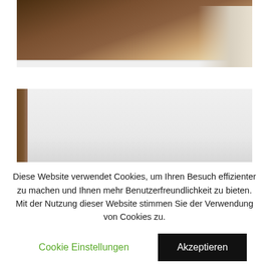[Figure (photo): Close-up photo of a wooden desk or table surface with dark walnut wood grain, white trim edge, and a light-colored background/wall visible in the upper right.]
[Figure (photo): Photo of a mid-century modern shelving unit or sideboard with dark walnut wood panels/drawers on the left and right sides, white open shelving in the middle, and a white wall background.]
Diese Website verwendet Cookies, um Ihren Besuch effizienter zu machen und Ihnen mehr Benutzerfreundlichkeit zu bieten. Mit der Nutzung dieser Website stimmen Sie der Verwendung von Cookies zu.
Cookie Einstellungen
Akzeptieren